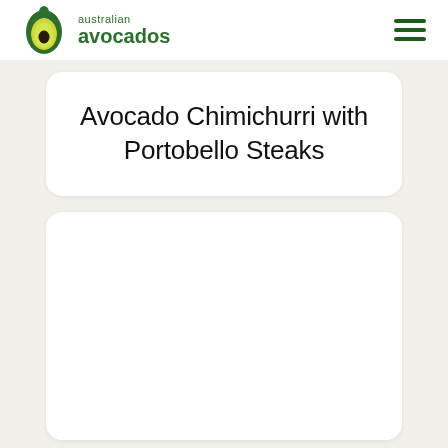australian avocados
Avocado Chimichurri with Portobello Steaks
[Figure (photo): White card placeholder area for a recipe photo — blank white rectangle with rounded corners]